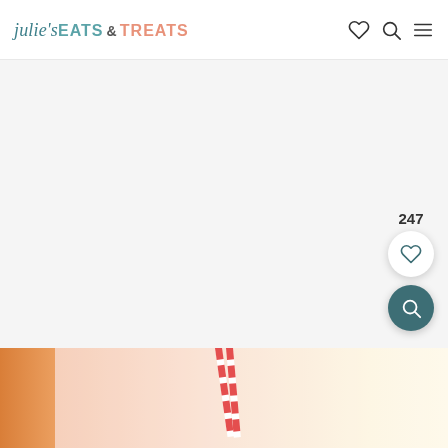julie's EATS & TREATS — navigation with heart, search, and menu icons
[Figure (photo): White/light gray content area (article image placeholder), with a floating save count of 247, a white circular heart/save button, and a teal circular search/magnify button on the right side]
[Figure (photo): Bottom photo strip showing colorful drinks with red and white striped straws, orange and pink tones on the left, cream/yellow tones on the right]